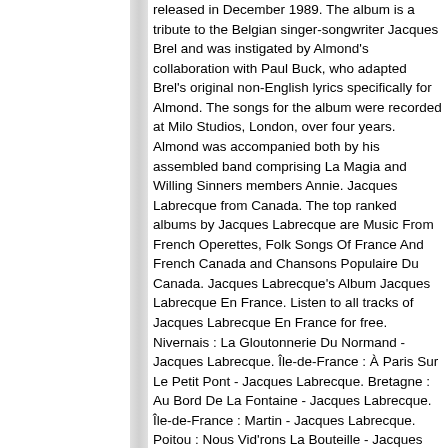released in December 1989. The album is a tribute to the Belgian singer-songwriter Jacques Brel and was instigated by Almond's collaboration with Paul Buck, who adapted Brel's original non-English lyrics specifically for Almond. The songs for the album were recorded at Milo Studios, London, over four years. Almond was accompanied both by his assembled band comprising La Magia and Willing Sinners members Annie. Jacques Labrecque from Canada. The top ranked albums by Jacques Labrecque are Music From French Operettes, Folk Songs Of France And French Canada and Chansons Populaire Du Canada. Jacques Labrecque's Album Jacques Labrecque En France. Listen to all tracks of Jacques Labrecque En France for free. Nivernais : La Gloutonnerie Du Normand - Jacques Labrecque. Île-de-France : À Paris Sur Le Petit Pont - Jacques Labrecque. Bretagne : Au Bord De La Fontaine - Jacques Labrecque. Île-de-France : Martin - Jacques Labrecque. Poitou : Nous Vid'rons La Bouteille - Jacques